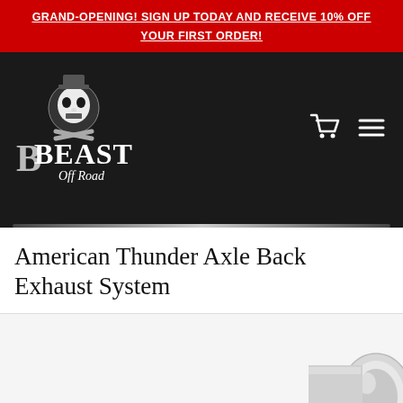GRAND-OPENING! SIGN UP TODAY AND RECEIVE 10% OFF YOUR FIRST ORDER!
[Figure (logo): Beast Off Road logo — skull wearing a top hat with 'Beast Off Road' text in white on dark background, with shopping cart and hamburger menu icons]
American Thunder Axle Back Exhaust System
[Figure (photo): Partial product photo of a chrome/stainless steel exhaust tip visible at the bottom right corner of the image area]